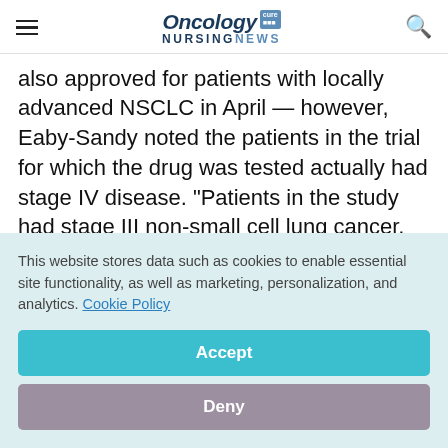Oncology NURSING NEWS
also approved for patients with locally advanced NSCLC in April — however, Eaby-Sandy noted the patients in the trial for which the drug was tested actually had stage IV disease. "Patients in the study had stage III non-small cell lung cancer, but they were not candidates for, or refused concurrent chemotherapy, radiation or
This website stores data such as cookies to enable essential site functionality, as well as marketing, personalization, and analytics. Cookie Policy
Accept
Deny